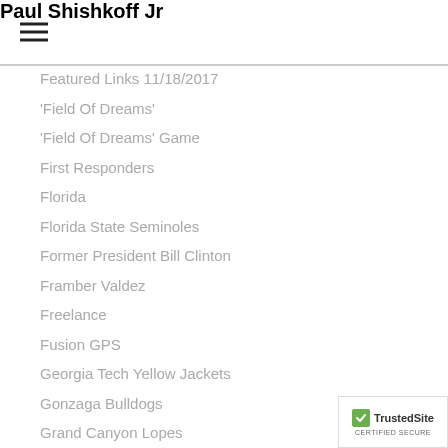Paul Shishkoff Jr
Featured Links 11/18/2017
'Field Of Dreams'
'Field Of Dreams' Game
First Responders
Florida
Florida State Seminoles
Former President Bill Clinton
Framber Valdez
Freelance
Fusion GPS
Georgia Tech Yellow Jackets
Gonzaga Bulldogs
Grand Canyon Lopes
Hillary Clinton
Holiday Wishes
Home Depot
Houston Astros
Houston Rockets